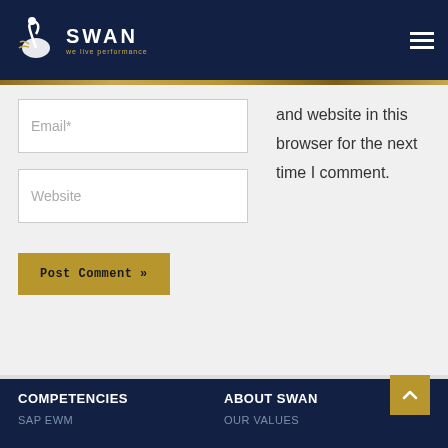SWAN - we live performance
[Figure (logo): Swan logo with swan bird icon and text SWAN, we live performance on dark navy background]
and website in this browser for the next time I comment.
Email*
Website
Post Comment »
COMPETENCIES
SAP EWM
ABOUT SWAN
OUR VALUES